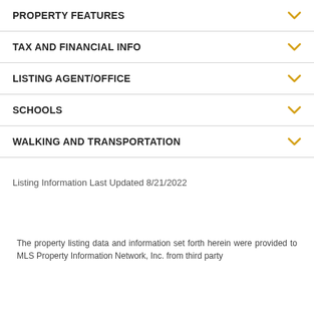PROPERTY FEATURES
TAX AND FINANCIAL INFO
LISTING AGENT/OFFICE
SCHOOLS
WALKING AND TRANSPORTATION
Listing Information Last Updated 8/21/2022
The property listing data and information set forth herein were provided to MLS Property Information Network, Inc. from third party